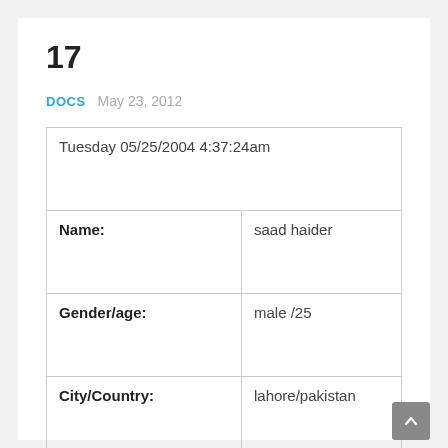17
DOCS   May 23, 2012
| Tuesday 05/25/2004 4:37:24am |  |
| Name: | saad haider |
| Gender/age: | male /25 |
| City/Country: | lahore/pakistan |
| Year of
Graduation/institute: | 2003/kemc |
| Present position: | intern |